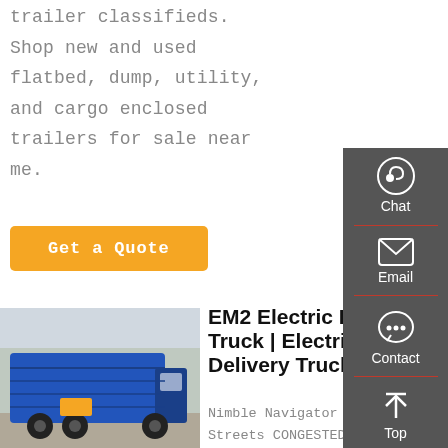trailer classifieds. Shop new and used flatbed, dump, utility, and cargo enclosed trailers for sale near me.
Get a Quote
[Figure (photo): Blue dump truck photographed from the rear-left side, parked outdoors with trees and buildings in the background.]
EM2 Electric Box Truck | Electric Delivery Truck
Nimble Navigator of City Streets CONGESTED AVENUES: MEET YOUR NEW
[Figure (infographic): Dark gray side panel with Chat (headset icon), Email (envelope icon), Contact (speech bubble icon), and Top (arrow up icon) buttons.]